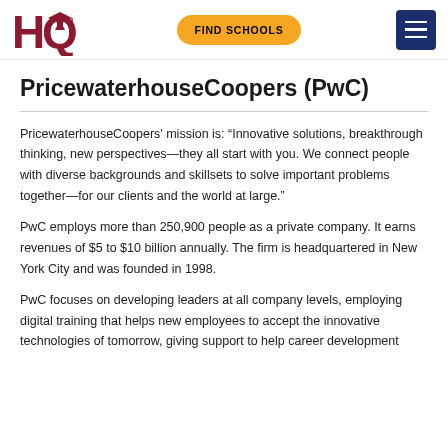HQ | FIND SCHOOLS
PricewaterhouseCoopers (PwC)
PricewaterhouseCoopers' mission is: “Innovative solutions, breakthrough thinking, new perspectives—they all start with you. We connect people with diverse backgrounds and skillsets to solve important problems together—for our clients and the world at large.”
PwC employs more than 250,900 people as a private company. It earns revenues of $5 to $10 billion annually. The firm is headquartered in New York City and was founded in 1998.
PwC focuses on developing leaders at all company levels, employing digital training that helps new employees to accept the innovative technologies of tomorrow, giving support to help career development